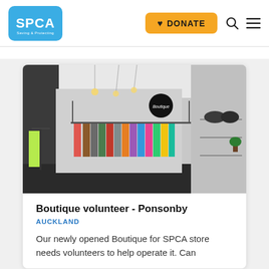[Figure (logo): SPCA logo - blue rounded rectangle with white SPCA text and 'Saving & Protecting' tagline]
DONATE
[Figure (photo): Interior of SPCA Boutique store in Ponsonby showing clothing racks with colorful garments, pendant lights, shelving units, and brand signage on walls]
Boutique volunteer - Ponsonby
AUCKLAND
Our newly opened Boutique for SPCA store needs volunteers to help operate it. Can